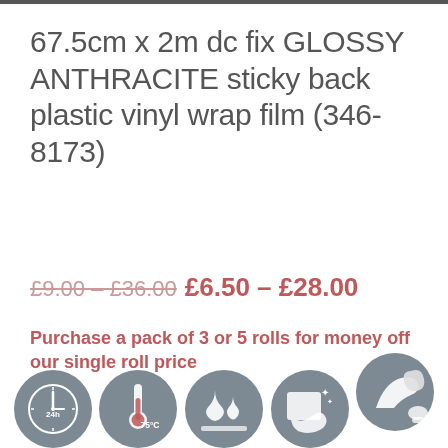67.5cm x 2m dc fix GLOSSY ANTHRACITE sticky back plastic vinyl wrap film (346-8173)
£9.00 – £36.00 £6.50 – £28.00
Purchase a pack of 3 or 5 rolls for money off our single roll price
[Figure (infographic): Five circular icons showing product features: 24h clock (24-hour), thermometer with 75°C, water drops on surface (waterproof), cleaning/wiping hand icon, and peeling/application icon.]